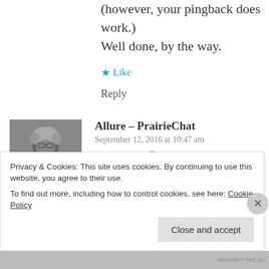(however, your pingback does work.) Well done, by the way.
★ Like
Reply
[Figure (photo): Black and white photo of an older man]
Allure – PrairieChat
September 12, 2016 at 10:47 am
👍 0 👎 0 ℹ Rate This
[…]
Privacy & Cookies: This site uses cookies. By continuing to use this website, you agree to their use. To find out more, including how to control cookies, see here: Cookie Policy
Close and accept